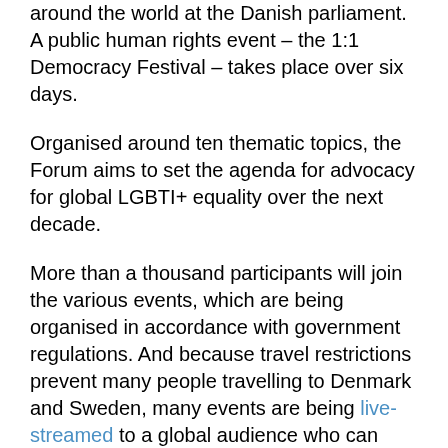around the world at the Danish parliament. A public human rights event – the 1:1 Democracy Festival – takes place over six days.
Organised around ten thematic topics, the Forum aims to set the agenda for advocacy for global LGBTI+ equality over the next decade.
More than a thousand participants will join the various events, which are being organised in accordance with government regulations. And because travel restrictions prevent many people travelling to Denmark and Sweden, many events are being live-streamed to a global audience who can interact and participate in sessions. Free VPN licenses are available to activists in hostile environments to enable their safer participation.
Approximately 75% of speakers are expected to attend in person. Those that cannot travel will join events via digital links.
More speakers will be announced over the next three